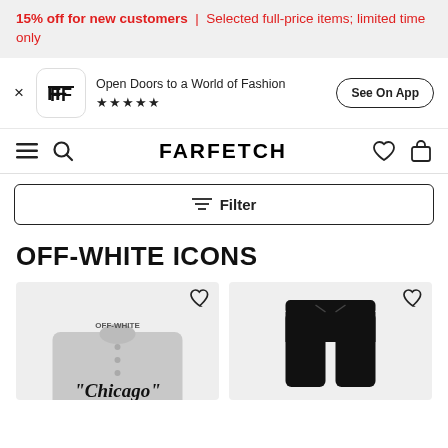15% off for new customers | Selected full-price items; limited time only
Open Doors to a World of Fashion ★★★★★
See On App
FARFETCH
Filter
OFF-WHITE ICONS
[Figure (photo): Two product images: a grey baseball jersey with Chicago lettering and black jogger pants, each with a heart wishlist icon]
"Chicago"